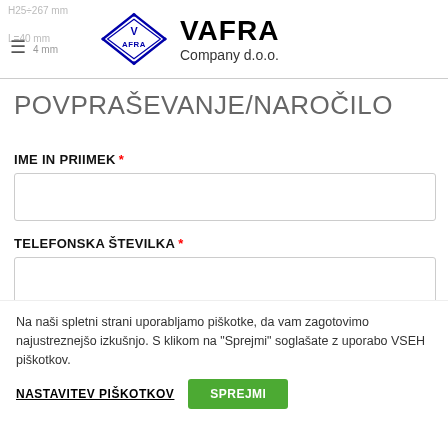VAFRA Company d.o.o.
POVPRAŠEVANJE/NAROČILO
IME IN PRIIMEK *
TELEFONSKA ŠTEVILKA *
Na naši spletni strani uporabljamo piškotke, da vam zagotovimo najustreznejšo izkušnjo. S klikom na "Sprejmi" soglašate z uporabo VSEH piškotkov.
NASTAVITEV PIŠKOTKOV
SPREJMI